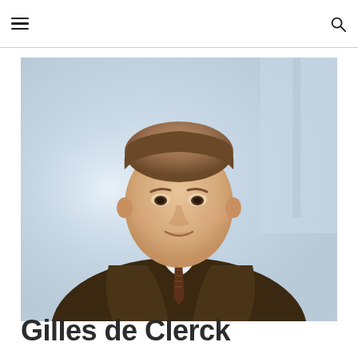[Figure (photo): Professional headshot of a man in a dark brown suit with a patterned tie, light blue shirt, photographed against a blurred office background with natural light.]
Gilles de Clerck